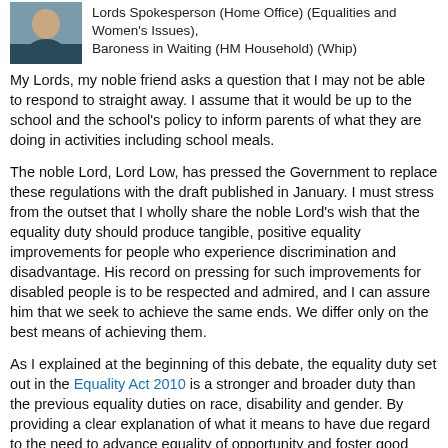[Figure (photo): Portrait photo of a person, used as speaker identifier thumbnail]
Lords Spokesperson (Home Office) (Equalities and Women's Issues), Baroness in Waiting (HM Household) (Whip)
My Lords, my noble friend asks a question that I may not be able to respond to straight away. I assume that it would be up to the school and the school's policy to inform parents of what they are doing in activities including school meals.
The noble Lord, Lord Low, has pressed the Government to replace these regulations with the draft published in January. I must stress from the outset that I wholly share the noble Lord's wish that the equality duty should produce tangible, positive equality improvements for people who experience discrimination and disadvantage. His record on pressing for such improvements for disabled people is to be respected and admired, and I can assure him that we seek to achieve the same ends. We differ only on the best means of achieving them.
As I explained at the beginning of this debate, the equality duty set out in the Equality Act 2010 is a stronger and broader duty than the previous equality duties on race, disability and gender. By providing a clear explanation of what it means to have due regard to the need to advance equality of opportunity and foster good relations, the new equality duty is designed to focus the attention of public bodies on the aims they need to consider when carrying out all their functions.
In addition, a number of disability the equality duty has placed on...